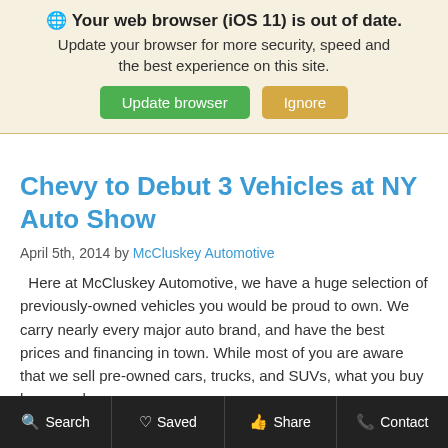🌐 Your web browser (iOS 11) is out of date. Update your browser for more security, speed and the best experience on this site.
Update browser | Ignore
Chevy to Debut 3 Vehicles at NY Auto Show
April 5th, 2014 by McCluskey Automotive
Here at McCluskey Automotive, we have a huge selection of previously-owned vehicles you would be proud to own. We carry nearly every major auto brand, and have the best prices and financing in town. While most of you are aware that we sell pre-owned cars, trucks, and SUVs, what you buy here pay here...
Read More
Search | Saved | Share | Contact